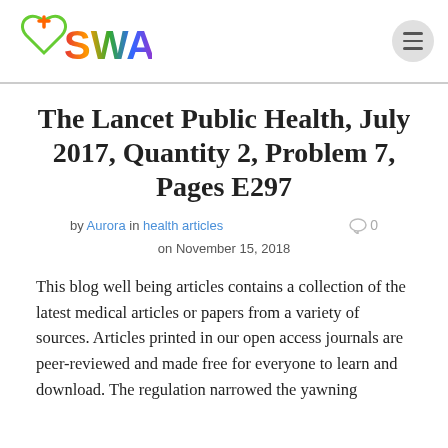SWA (logo)
The Lancet Public Health, July 2017, Quantity 2, Problem 7, Pages E297
by Aurora in health articles on November 15, 2018   ○ 0
This blog well being articles contains a collection of the latest medical articles or papers from a variety of sources. Articles printed in our open access journals are peer-reviewed and made free for everyone to learn and download. The regulation narrowed the yawning